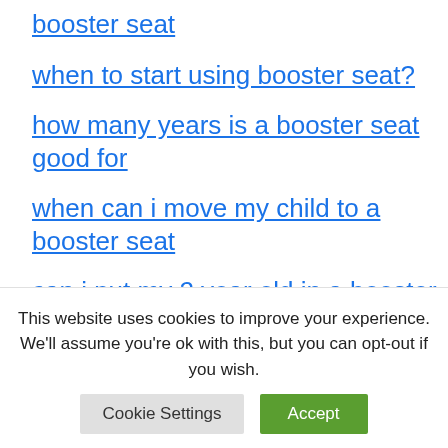booster seat
when to start using booster seat?
how many years is a booster seat good for
when can i move my child to a booster seat
can i put my 2 year old in a booster seat
how do i know if my town and country has integrated booster seat
This website uses cookies to improve your experience. We'll assume you're ok with this, but you can opt-out if you wish.
Cookie Settings | Accept